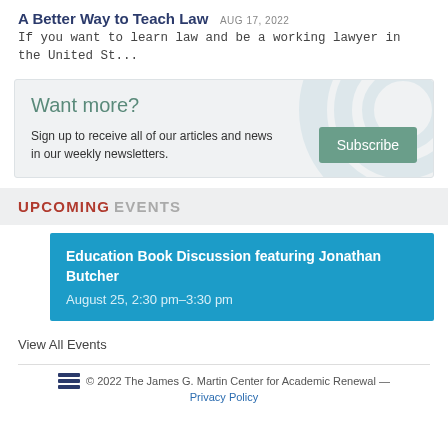A Better Way to Teach Law  AUG 17, 2022
If you want to learn law and be a working lawyer in the United St...
[Figure (infographic): Subscribe box with 'Want more?' heading, text 'Sign up to receive all of our articles and news in our weekly newsletters.' and a green Subscribe button]
UPCOMING EVENTS
Education Book Discussion featuring Jonathan Butcher
August 25, 2:30 pm–3:30 pm
View All Events
© 2022 The James G. Martin Center for Academic Renewal — Privacy Policy